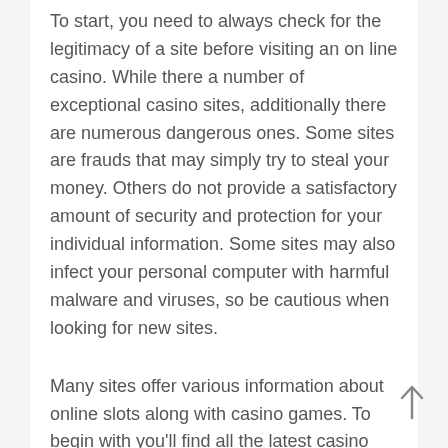To start, you need to always check for the legitimacy of a site before visiting an on line casino. While there a number of exceptional casino sites, additionally there are numerous dangerous ones. Some sites are frauds that may simply try to steal your money. Others do not provide a satisfactory amount of security and protection for your individual information. Some sites may also infect your personal computer with harmful malware and viruses, so be cautious when looking for new sites.
Many sites offer various information about online slots along with casino games. To begin with you'll find all the latest casino news, reviews, jackpot progressives along with the most used slot machines to play. As well as information concerning slots bonus